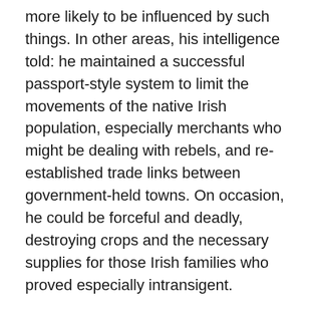more likely to be influenced by such things. In other areas, his intelligence told: he maintained a successful passport-style system to limit the movements of the native Irish population, especially merchants who might be dealing with rebels, and re-established trade links between government-held towns. On occasion, he could be forceful and deadly, destroying crops and the necessary supplies for those Irish families who proved especially intransigent.
One by one, bit by bit, “rebel” clans, families and nobles either made their peace with the English or switched sides altogether. When Carew wanted firepower he was able to call on the Earl of Thomond and the stores in Limerick to provide it: such support helped English forces to capture the castle at Glin, Limerick, in July of 1600. This act seems to have been especially useful in intimidating the native Irish, as scores of fortifications and castles, previously